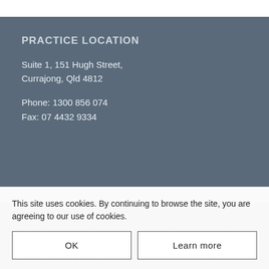PRACTICE LOCATION
Suite 1, 151 Hugh Street,
Currajong, Qld 4812
Phone: 1300 856 074
Fax: 07 4432 9334
OPERATING THEATRES
Townsville Day Surgery, 40-42 View Street, West End QLD 4810
Mater Hospital Hyde Park, 12-14 Oxford Street, Hyde
This site uses cookies. By continuing to browse the site, you are agreeing to our use of cookies.